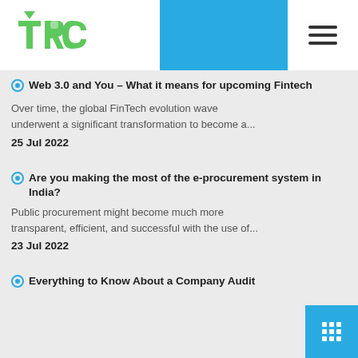[Figure (logo): TRC logo in green/teal with stylized letters]
Web 3.0 and You – What it means for upcoming Fintech
Over time, the global FinTech evolution wave underwent a significant transformation to become a...
25 Jul 2022
Are you making the most of the e-procurement system in India?
Public procurement might become much more transparent, efficient, and successful with the use of...
23 Jul 2022
Everything to Know About a Company Audit